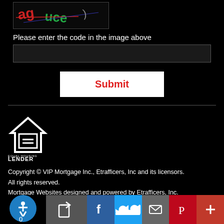[Figure (other): CAPTCHA image with distorted text 'aguce' on dark background]
Please enter the code in the image above
Submit
[Figure (logo): Equal Housing Lender logo — house outline with equals sign inside]
EQUAL HOUSING
LENDER
Copyright © VIP Mortgage Inc., Etrafficers, Inc and its licensors. All rights reserved.
Mortgage Websites designed and powered by Etrafficers, Inc.
0  [social share icons: Facebook, Twitter, Email, Pinterest, Plus]